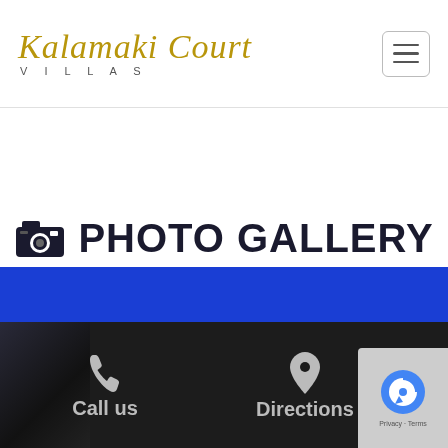Kalamaki Court Villas
PHOTO GALLERY
General photos of Kalamaki Court
[Figure (other): Three navigation dots (pagination indicator)]
[Figure (screenshot): Blue banner strip and dark footer with Call us (phone icon) and Directions (map pin icon) buttons, plus reCAPTCHA badge]
Call us   Directions